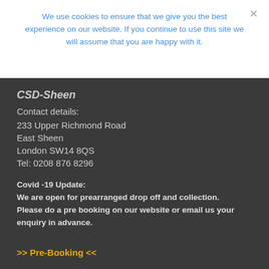We use cookies to ensure that we give you the best experience on our website. If you continue to use this site we will assume that you are happy with it.
CSD-Sheen
Contact details:
233 Upper Richmond Road
East Sheen
London SW14 8QS
Tel: 0208 876 8296
Covid -19 Update:
We are open for prearranged drop off and collection.
Please do a pre booking on our website or email us your enquiry in advance.
>> Pre-Booking <<